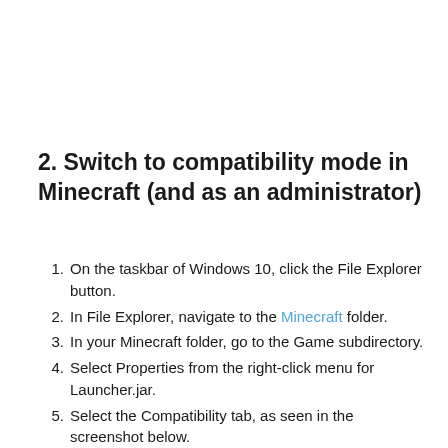2. Switch to compatibility mode in Minecraft (and as an administrator)
On the taskbar of Windows 10, click the File Explorer button.
In File Explorer, navigate to the Minecraft folder.
In your Minecraft folder, go to the Game subdirectory.
Select Properties from the right-click menu for Launcher.jar.
Select the Compatibility tab, as seen in the screenshot below.
Choose the option to run this program in compatibility mode.
On the Compatibility mode drop-down option, choose